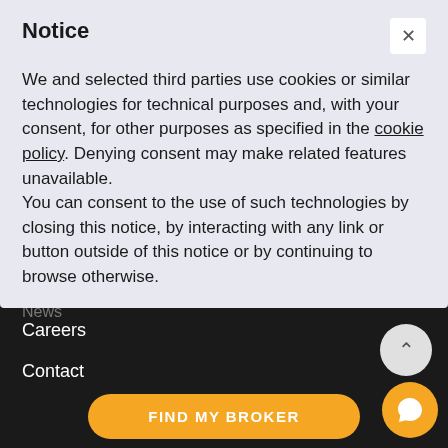Notice
We and selected third parties use cookies or similar technologies for technical purposes and, with your consent, for other purposes as specified in the cookie policy. Denying consent may make related features unavailable.
You can consent to the use of such technologies by closing this notice, by interacting with any link or button outside of this notice or by continuing to browse otherwise.
Careers
Contact
Data dashboard
Discover
Best brokers 2022
Find my broker
FIND MY BROKER